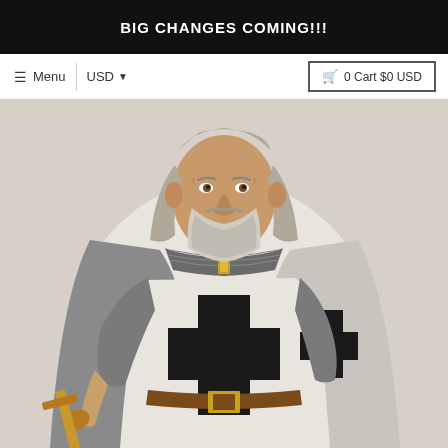BIG CHANGES COMING!!!
≡ Menu  |  USD ▼  |  🛒 0 Cart $0 USD
[Figure (illustration): A colored historical illustration of a Teutonic Knight or Crusader in a white mantle with large black crosses, chain mail, holding a sword, with long gray hair and beard.]